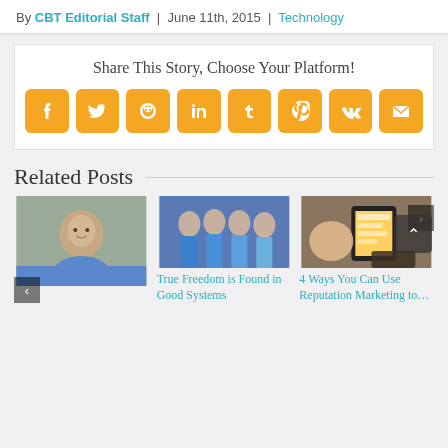By CBT Editorial Staff | June 11th, 2015 | Technology
Share This Story, Choose Your Platform!
[Figure (infographic): Row of 8 orange social share icon buttons: Facebook, Twitter, Reddit, LinkedIn, Tumblr, Pinterest, VK, Email]
Related Posts
[Figure (photo): Headshot of a young man smiling outdoors]
[Figure (photo): Group of women in blue aprons/uniforms]
True Freedom is Found in Good Systems
[Figure (photo): Hands holding a smartphone with notification bubbles]
4 Ways You Can Use Reputation Marketing to…